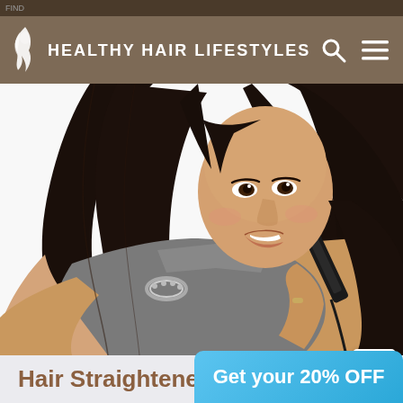HEALTHY HAIR LIFESTYLES
[Figure (photo): Young woman with long dark straight hair using a hair straightener, smiling, wearing a gray top and bracelet, on white background]
Hair Straightener
Get your 20% OFF